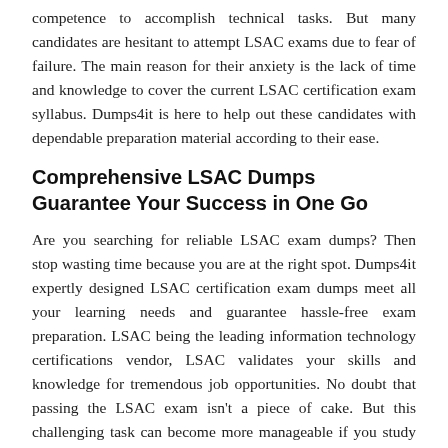competence to accomplish technical tasks. But many candidates are hesitant to attempt LSAC exams due to fear of failure. The main reason for their anxiety is the lack of time and knowledge to cover the current LSAC certification exam syllabus. Dumps4it is here to help out these candidates with dependable preparation material according to their ease.
Comprehensive LSAC Dumps Guarantee Your Success in One Go
Are you searching for reliable LSAC exam dumps? Then stop wasting time because you are at the right spot. Dumps4it expertly designed LSAC certification exam dumps meet all your learning needs and guarantee hassle-free exam preparation. LSAC being the leading information technology certifications vendor, LSAC validates your skills and knowledge for tremendous job opportunities. No doubt that passing the LSAC exam isn't a piece of cake. But this challenging task can become more manageable if you study from Dumps4it's accurate LSAC braindumps. Our Latest and